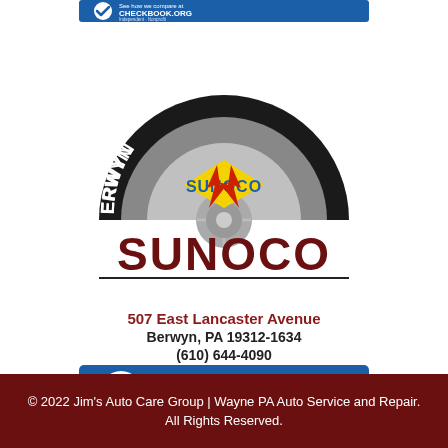[Figure (logo): Checkbook.org banner at top — blue rectangle with checkmark circle and text 'See how we compare at CHECKBOOK.ORG Independent · Nonprofit']
[Figure (logo): Jim's Berwyn Sunoco logo — semicircular tire with 'JIM'S BERWYN' text, silver wheel hub, Sunoco diamond logo, red lightning bolt arrows, and large 'SUNOCO' text below in dark red with horizontal rule]
507 East Lancaster Avenue
Berwyn, PA 19312-1634
(610) 644-4090
[Figure (logo): Checkbook.org banner — blue rectangle with checkmark circle and text 'See how we compare at CHECKBOOK.ORG Independent · Nonprofit']
© 2022 Jim's Auto Care Group | Wayne PA Auto Service and Repair. All Rights Reserved.